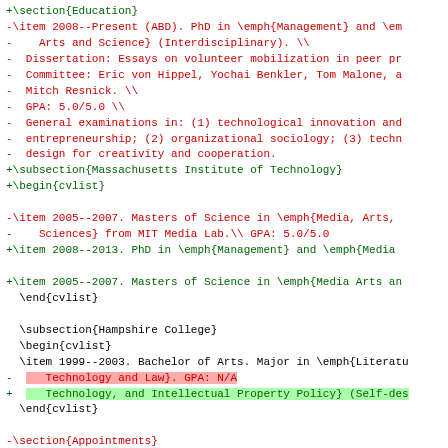+\section{Education}
-\item 2008--Present (ABD). PhD in \emph{Management} and \em
-    Arts and Science} (Interdisciplinary). \\
-  Dissertation: Essays on volunteer mobilization in peer pr
-  Committee: Eric von Hippel, Yochai Benkler, Tom Malone, a
-  Mitch Resnick. \\
-  GPA: 5.0/5.0 \\
-  General examinations in: (1) technological innovation and
-  entrepreneurship; (2) organizational sociology; (3) techn
-  design for creativity and cooperation.
+\subsection{Massachusetts Institute of Technology}
+\begin{cvlist}
-\item 2005--2007. Masters of Science in \emph{Media, Arts,
-    Sciences} from MIT Media Lab.\\ GPA: 5.0/5.0
+\item 2008--2013. PhD in \emph{Management} and \emph{Media
+\item 2005--2007. Masters of Science in \emph{Media Arts an
\end{cvlist}
\subsection{Hampshire College}
\begin{cvlist}
\item 1999--2003. Bachelor of Arts. Major in \emph{Literatu
-      Technology and Law}. GPA: N/A
+      Technology, and Intellectual Property Policy} (Self-des
\end{cvlist}
-\section{Appointments}
+\newpage % temporary, until we add more stuff above
+\section{Publications}
\subsection{Harvard University}